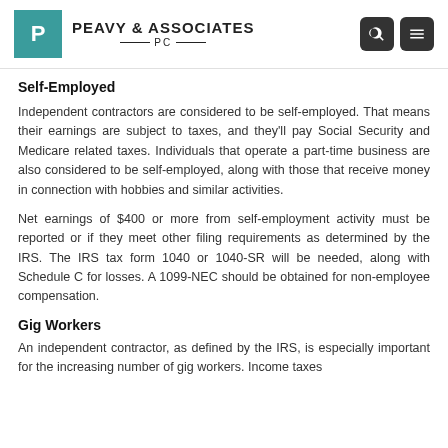PEAVY & ASSOCIATES PC
Self-Employed
Independent contractors are considered to be self-employed. That means their earnings are subject to taxes, and they'll pay Social Security and Medicare related taxes. Individuals that operate a part-time business are also considered to be self-employed, along with those that receive money in connection with hobbies and similar activities.
Net earnings of $400 or more from self-employment activity must be reported or if they meet other filing requirements as determined by the IRS. The IRS tax form 1040 or 1040-SR will be needed, along with Schedule C for losses. A 1099-NEC should be obtained for non-employee compensation.
Gig Workers
An independent contractor, as defined by the IRS, is especially important for the increasing number of gig workers. Income taxes